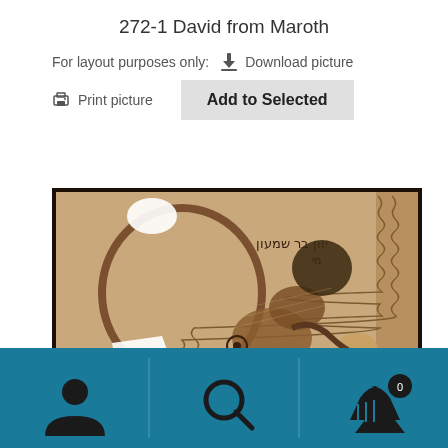272-1 David from Maroth
For layout purposes only:  Download picture
Print picture   Add to Selected
[Figure (photo): Ancient mosaic artwork showing a figure, partially damaged, with Hebrew inscription at top. The mosaic features earth tones of brown, tan, and beige with a decorative border pattern on the right side.]
[Figure (infographic): Bottom navigation bar in teal/dark cyan color with three icon sections: user/person icon on left, search/magnifying glass icon in center, and shopping basket with notification badge on right.]